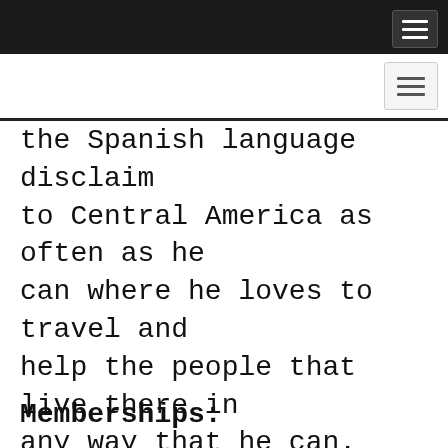the Spanish language disclaim to Central America as often as he can where he loves to travel and help the people that live there in any way that he can. Adam speaks fluent Spanish and is a valuable asset to anyone that is a non-English speaker.
Memberships: